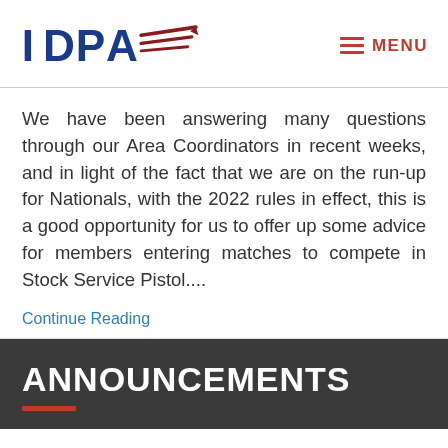IDPA [logo] | MENU
We have been answering many questions through our Area Coordinators in recent weeks, and in light of the fact that we are on the run-up for Nationals, with the 2022 rules in effect, this is a good opportunity for us to offer up some advice for members entering matches to compete in Stock Service Pistol....
Continue Reading
ANNOUNCEMENTS